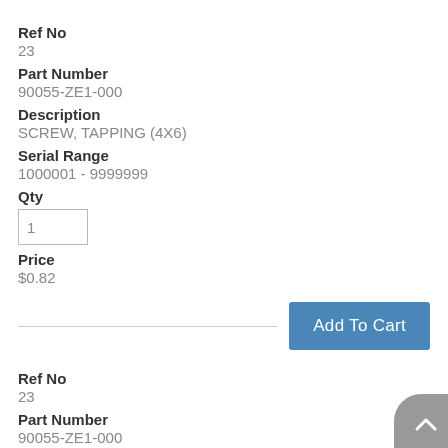Ref No
23
Part Number
90055-ZE1-000
Description
SCREW, TAPPING (4X6)
Serial Range
1000001 - 9999999
Qty
Price
$0.82
Add To Cart
Ref No
23
Part Number
90055-ZE1-000
Description
SCREW, TAPPING (4X6)